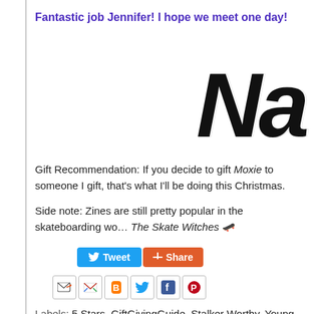Fantastic job Jennifer! I hope we meet one day!
[Figure (illustration): Handwritten signature in large black script letters 'Na' (partially visible, cropped on right)]
Gift Recommendation: If you decide to gift Moxie to someone I gift, that's what I'll be doing this Christmas.
Side note: Zines are still pretty popular in the skateboarding wo… The Skate Witches 🛹
[Figure (infographic): Tweet and Share buttons. Blue Tweet button with Twitter bird icon, orange Share button with plus icon.]
[Figure (infographic): Row of social sharing icons: email forward, Gmail, Blogger, Twitter, Facebook, Pinterest]
Labels: 5 Stars, GiftGivingGuide, Stalker Worthy, Young Adult
1 comment: